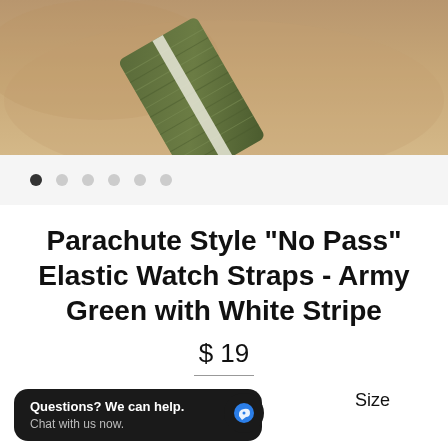[Figure (photo): Close-up photo of an army green parachute style elastic watch strap with white stripe on a wrist, warm skin-tone background]
[Figure (other): Image carousel dot navigation: 6 dots, first filled/active, rest empty/grey]
Parachute Style "No Pass" Elastic Watch Straps - Army Green with White Stripe
$ 19
Size
20.00 MM
22.00 MM
Questions? We can help. Chat with us now.